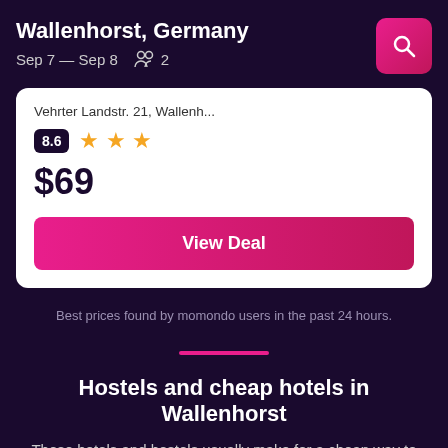Wallenhorst, Germany
Sep 7 — Sep 8   2
Vehrter Landstr. 21, Wallenh...
8.6 ★★★
$69
View Deal
Best prices found by momondo users in the past 24 hours.
Hostels and cheap hotels in Wallenhorst
These hotels and hostels usually make for a cheap way to stay in Wallenhorst